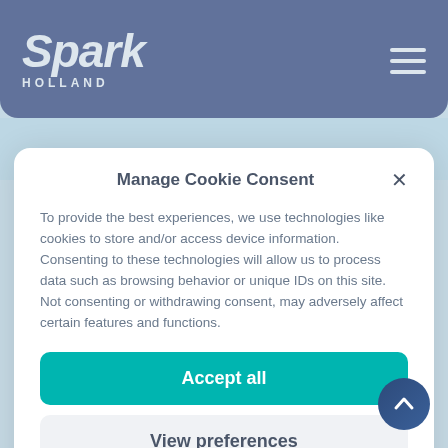Spark Holland
Publications
Manage Cookie Consent
To provide the best experiences, we use technologies like cookies to store and/or access device information. Consenting to these technologies will allow us to process data such as browsing behavior or unique IDs on this site. Not consenting or withdrawing consent, may adversely affect certain features and functions.
Accept all
View preferences
Cookie statement  Privacy Policy